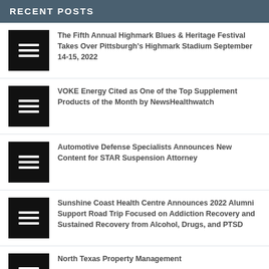RECENT POSTS
The Fifth Annual Highmark Blues & Heritage Festival Takes Over Pittsburgh's Highmark Stadium September 14-15, 2022
VOKE Energy Cited as One of the Top Supplement Products of the Month by NewsHealthwatch
Automotive Defense Specialists Announces New Content for STAR Suspension Attorney
Sunshine Coast Health Centre Announces 2022 Alumni Support Road Trip Focused on Addiction Recovery and Sustained Recovery from Alcohol, Drugs, and PTSD
North Texas Property Management